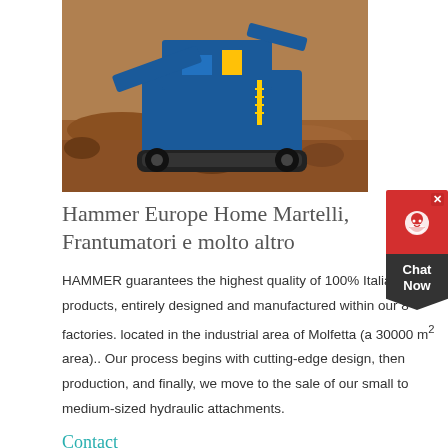[Figure (photo): Blue industrial crushing/screening machine on tracked undercarriage in a rocky excavation site with orange-brown earth and rocks]
Hammer Europe Home Martelli, Frantumatori e molto altro
HAMMER guarantees the highest quality of 100% Italian Made products, entirely designed and manufactured within our 8 factories. located in the industrial area of Molfetta (a 30000 m² area).. Our process begins with cutting-edge design, then production, and finally, we move to the sale of our small to medium-sized hydraulic attachments.
Contact
[Figure (photo): Industrial facility with large cylindrical silos and machinery structures against a blue sky]